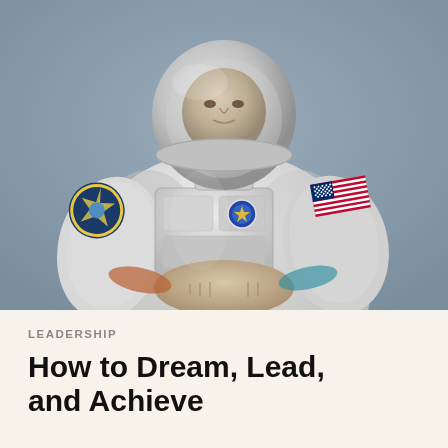[Figure (photo): Photograph of an astronaut in a white NASA spacesuit with helmet, US flag patch on right arm, mission patch on left arm, arms crossed, posing against a blue-grey background]
LEADERSHIP
How to Dream, Lead, and Achieve